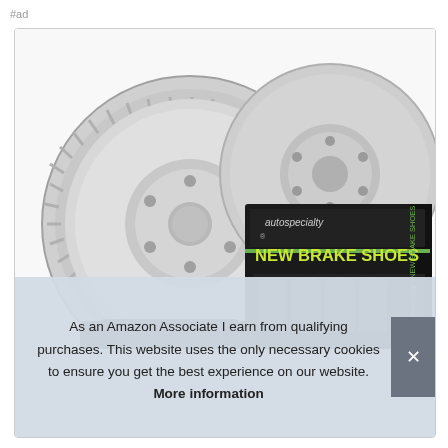#ad
[Figure (photo): Product photo showing two silver/grey brake drums and a box of autospecialty NEW BRAKE SHOES with brake shoe components displayed in front of the box. The box is dark/black with green and white text reading 'autospecialty NEW BRAKE SHOES'.]
As an Amazon Associate I earn from qualifying purchases. This website uses the only necessary cookies to ensure you get the best experience on our website. More information